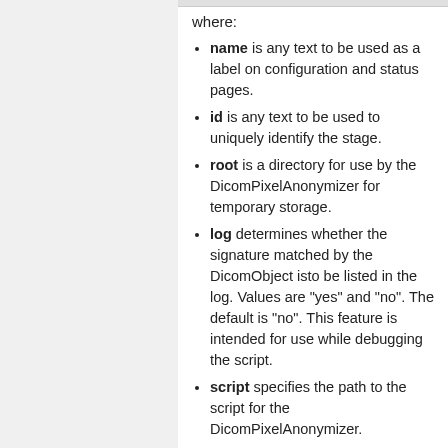where:
name is any text to be used as a label on configuration and status pages.
id is any text to be used to uniquely identify the stage.
root is a directory for use by the DicomPixelAnonymizer for temporary storage.
log determines whether the signature matched by the DicomObject isto be listed in the log. Values are "yes" and "no". The default is "no". This feature is intended for use while debugging the script.
script specifies the path to the script for the DicomPixelAnonymizer.
quarantine is a directory in which